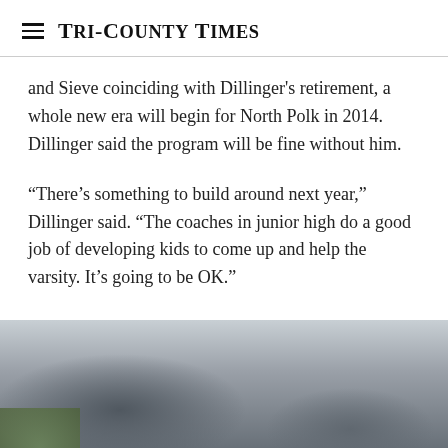Tri-County Times
and Sieve coinciding with Dillinger’s retirement, a whole new era will begin for North Polk in 2014. Dillinger said the program will be fine without him.
“There’s something to build around next year,” Dillinger said. “The coaches in junior high do a good job of developing kids to come up and help the varsity. It’s going to be OK.”
[Figure (photo): Blurry outdoor photograph, appears to show a building or structure in the background with some greenery at the bottom left, taken with shallow depth of field.]